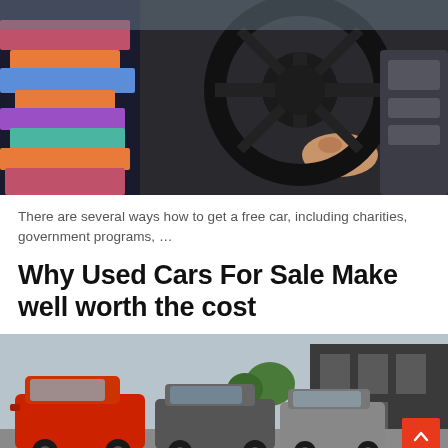[Figure (photo): Close-up photo of a person with colorful patterned sleeves gripping a car steering wheel, dark interior visible]
There are several ways how to get a free car, including charities, government programs, …
Why Used Cars For Sale Make well worth the cost
[Figure (photo): Row of used cars for sale on a dealership lot, red car prominent on left, building in background]